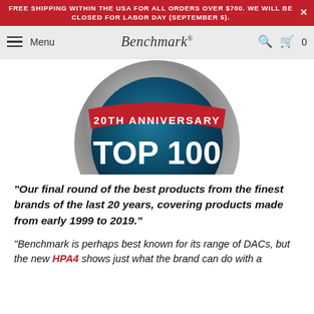FREE SHIPPING WITHIN THE USA FOR ALL ORDERS OVER $700. WE WILL BE CLOSED FOR LABOR DAY (SEPTEMBER 5).
Menu | Benchmark | Search | Cart 0
[Figure (illustration): 20th Anniversary Top 100 badge — a circular metallic badge with a red banner reading '20TH ANNIVERSARY' at the top and 'TOP 100' in large white text on a dark teal/blue center.]
"Our final round of the best products from the finest brands of the last 20 years, covering products made from early 1999 to 2019."
"Benchmark is perhaps best known for its range of DACs, but the new HPA4 shows just what the brand can do with a